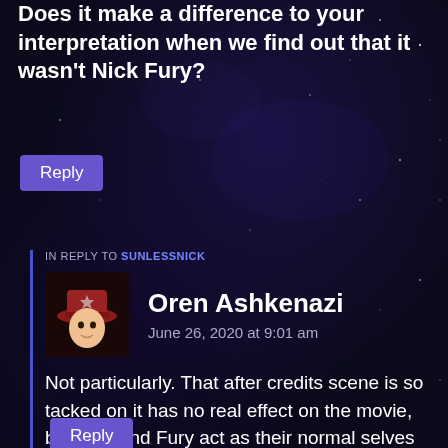Does it make a difference to your interpretation when we find out that it wasn't Nick Fury?
Reply
IN REPLY TO SUNLESSNICK
Oren Ashkenazi
June 26, 2020 at 9:01 am
Not particularly. That after credits scene is so tacked on it has no real effect on the movie, both Hill and Fury act as their normal selves for the whole thing.
Reply